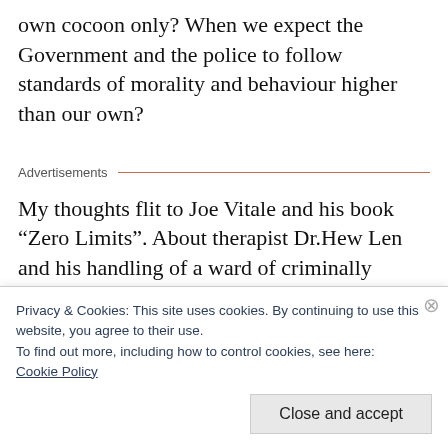own cocoon only? When we expect the Government and the police to follow standards of morality and behaviour higher than our own?
Advertisements
My thoughts flit to Joe Vitale and his book “Zero Limits”. About therapist Dr.Hew Len and his handling of a ward of criminally insane
Privacy & Cookies: This site uses cookies. By continuing to use this website, you agree to their use.
To find out more, including how to control cookies, see here:
Cookie Policy
Close and accept